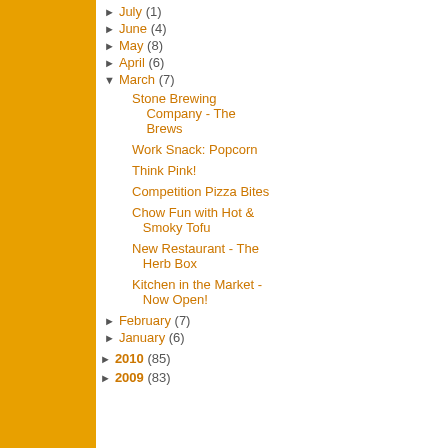► July (1)
► June (4)
► May (8)
► April (6)
▼ March (7)
Stone Brewing Company - The Brews
Work Snack: Popcorn
Think Pink!
Competition Pizza Bites
Chow Fun with Hot & Smoky Tofu
New Restaurant - The Herb Box
Kitchen in the Market - Now Open!
► February (7)
► January (6)
► 2010 (85)
► 2009 (83)
The Eden Prairie crowd is... First, Smashburger opene... shop inside the doors of L... Fhima.
I ate at The Herb Box last...
[Figure (photo): Food photo showing a white oval dish with mac and cheese or similar creamy pasta dish, on a dark background]
I love mac & cheese and... right elements of creamy...